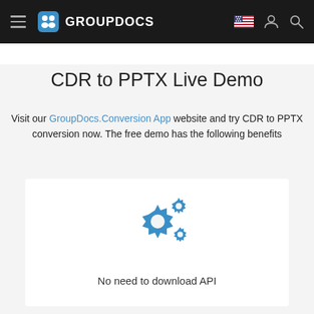GROUPDOCS
CDR to PPTX Live Demo
Visit our GroupDocs.Conversion App website and try CDR to PPTX conversion now. The free demo has the following benefits
[Figure (illustration): Two blue gear/cog icons representing settings or processing]
No need to download API